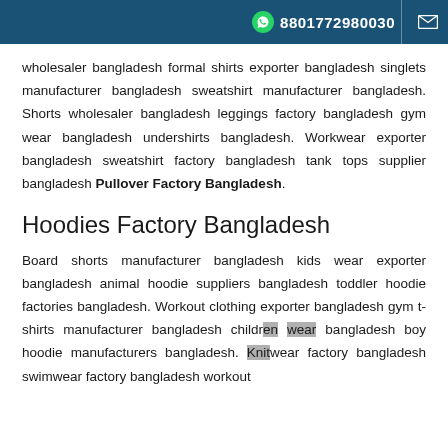8801772980030
wholesaler bangladesh formal shirts exporter bangladesh singlets manufacturer bangladesh sweatshirt manufacturer bangladesh. Shorts wholesaler bangladesh leggings factory bangladesh gym wear bangladesh undershirts bangladesh. Workwear exporter bangladesh sweatshirt factory bangladesh tank tops supplier bangladesh Pullover Factory Bangladesh.
Hoodies Factory Bangladesh
Board shorts manufacturer bangladesh kids wear exporter bangladesh animal hoodie suppliers bangladesh toddler hoodie factories bangladesh. Workout clothing exporter bangladesh gym t-shirts manufacturer bangladesh children wear bangladesh boy hoodie manufacturers bangladesh. Knitwear factory bangladesh swimwear factory bangladesh workout